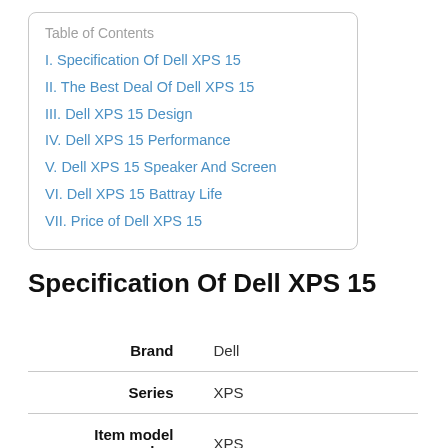Table of Contents
I. Specification Of Dell XPS 15
II. The Best Deal Of Dell XPS 15
III. Dell XPS 15 Design
IV. Dell XPS 15 Performance
V. Dell XPS 15 Speaker And Screen
VI. Dell XPS 15 Battray Life
VII. Price of Dell XPS 15
Specification Of Dell XPS 15
|  |  |
| --- | --- |
| Brand | Dell |
| Series | XPS |
| Item model number | XPS |